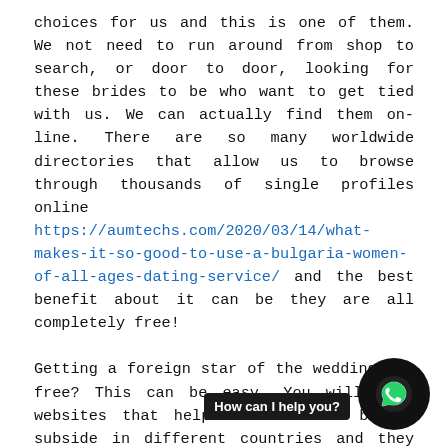choices for us and this is one of them. We not need to run around from shop to search, or door to door, looking for these brides to be who want to get tied with us. We can actually find them on-line. There are so many worldwide directories that allow us to browse through thousands of single profiles online https://aumtechs.com/2020/03/14/what-makes-it-so-good-to-use-a-bulgaria-women-of-all-ages-dating-service/ and the best benefit about it can be they are all completely free!

Getting a foreign star of the wedding for free? This can be easy. You will find websites that help international brides subside in different countries and they help them find a partner or a lifestyle mate. The web site operators and agencies are solely sensible of screening the registered associates or potential brides to be sure that they http://plakat-blokm.blogspot.com/ do not have virtually any criminal records or other disqualifications that would their power to look for a spouse. These websites are registered by governments and they could be relied about as